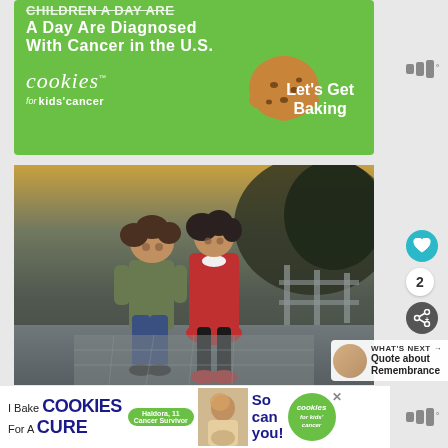[Figure (infographic): Green banner ad for 'Cookies for Kids' Cancer' showing text 'A Day Are Diagnosed With Cancer in the U.S.' with cookie image and 'Let's Get Baking' call to action]
[Figure (photo): Two young children standing outdoors on a stone path - a boy in olive/green shirt and jeans, and a girl in a red coat, both looking at the camera. Fence and park visible in background.]
WHAT'S NEXT → Quote about Remembrance
[Figure (infographic): Bottom banner ad: 'I Bake COOKIES For A CURE' with Haldora, 11 Cancer Survivor badge, photo of girl, 'So can you!' and Cookies for Kids' Cancer logo]